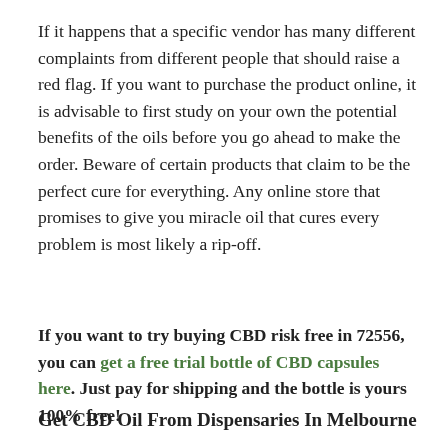If it happens that a specific vendor has many different complaints from different people that should raise a red flag. If you want to purchase the product online, it is advisable to first study on your own the potential benefits of the oils before you go ahead to make the order. Beware of certain products that claim to be the perfect cure for everything. Any online store that promises to give you miracle oil that cures every problem is most likely a rip-off.
If you want to try buying CBD risk free in 72556, you can get a free trial bottle of CBD capsules here. Just pay for shipping and the bottle is yours 100% free!
Get CBD Oil From Dispensaries In Melbourne